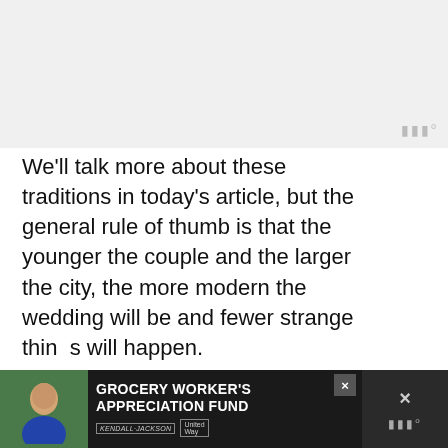[Figure (other): Gray placeholder area at top of page representing an image or media area, with audio/sound icon in bottom right corner]
We'll talk more about these traditions in today's article, but the general rule of thumb is that the younger the couple and the larger the city, the more modern the wedding will be and fewer strange things will happen.
But no matter if we're talking about co... mo...ern we...
[Figure (infographic): Advertisement banner: GROCERY WORKER'S APPRECIATION FUND with Kendall-Jackson and United Way logos, overlaid on bottom of page]